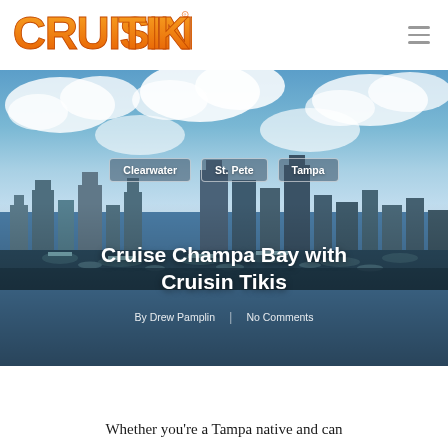[Figure (logo): Cruisin Tikis logo in orange and yellow stylized text]
[Figure (photo): Aerial photo of Tampa Bay waterfront with city skyline, marina filled with boats, and cloudy blue sky. Category pills for Clearwater, St. Pete, and Tampa overlaid on the image along with the article title and byline.]
Cruise Champa Bay with Cruisin Tikis
By Drew Pamplin  |  No Comments
Whether you're a Tampa native and can